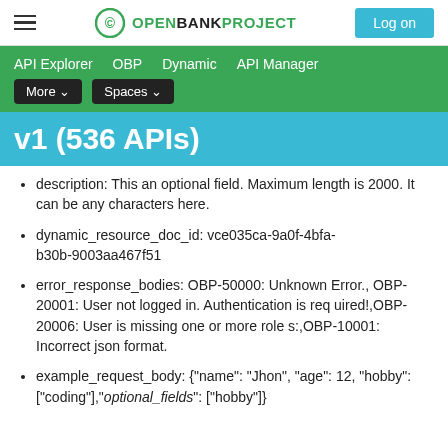Open Bank Project — Log on
API Explorer   OBP   Dynamic   API Manager   More ▾   Spaces ▾
v1 (536 APIs)
description: This an optional field. Maximum length is 2000. It can be any characters here.
dynamic_resource_doc_id: vce035ca-9a0f-4bfa-b30b-9003aa467f51
error_response_bodies: OBP-50000: Unknown Error.,OBP-20001: User not logged in. Authentication is required!,OBP-20006: User is missing one or more roles:,OBP-10001: Incorrect json format.
example_request_body: {"name": "Jhon", "age": 12, "hobby": ["coding"],"optional_fields": ["hobby"]}